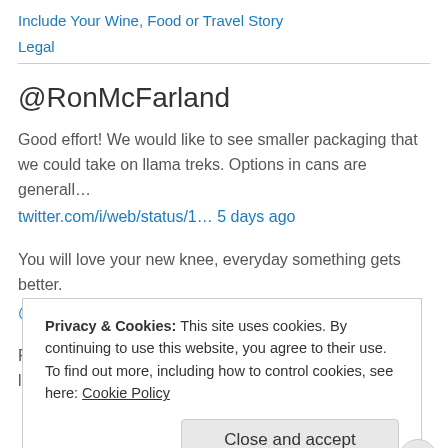Include Your Wine, Food or Travel Story
Legal
@RonMcFarland
Good effort! We would like to see smaller packaging that we could take on llama treks. Options in cans are generall…
twitter.com/i/web/status/1… 5 days ago
You will love your new knee, everyday something gets better.
@RandallGrahm 1 week ago
RT @AlfonsoCevola: How to destroy your Italian wine legacy in one
Privacy & Cookies: This site uses cookies. By continuing to use this website, you agree to their use.
To find out more, including how to control cookies, see here: Cookie Policy
Close and accept